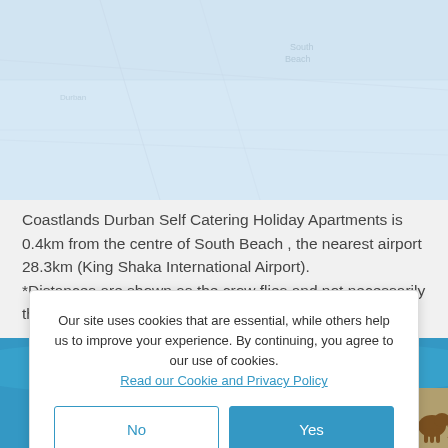[Figure (illustration): A blurred/light map background at the top of the page showing a coastal region]
Coastlands Durban Self Catering Holiday Apartments is 0.4km from the centre of South Beach , the nearest airport 28.3km (King Shaka International Airport).
*Distances are shown as the crow flies and not necessarily the actual travelling
Our site uses cookies that are essential, while others help us to improve your experience. By continuing, you agree to our use of cookies.
Read our Cookie and Privacy Policy
[Figure (illustration): Footer illustration showing a teal/blue ocean scene with a sailboat on the left and an African safari silhouette (person with raised arms, elephant) on the right]